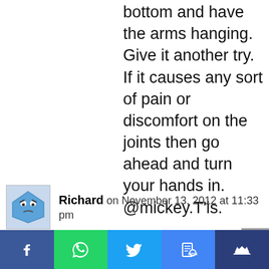bottom and have the arms hanging. Give it another try. If it causes any sort of pain or discomfort on the joints then go ahead and turn your hands in. @mickey.T'is.
Richard on November 13, 2012 at 11:33 pm
Like Siddharta1979, I have similar problem with supinating at the bottom. In my case I think it is a lack of flexibility in my
Facebook | WhatsApp | Twitter | SMS | Crown